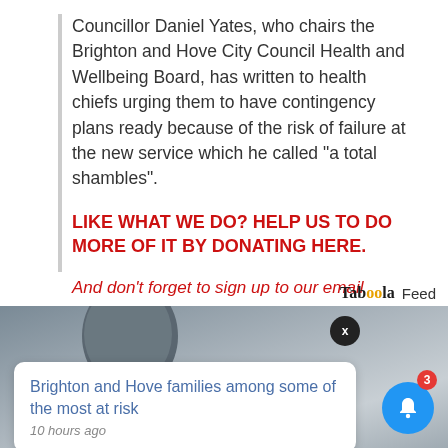Councillor Daniel Yates, who chairs the Brighton and Hove City Council Health and Wellbeing Board, has written to health chiefs urging them to have contingency plans ready because of the risk of failure at the new service which he called “a total shambles”.
LIKE WHAT WE DO? HELP US TO DO MORE OF IT BY DONATING HERE.
And don't forget to sign up to our email newsletter, bringing you the week's biggest stories every Thursday.
Taboola Feed
[Figure (photo): A close-up side profile photo of a person's head against a light grey background]
Brighton and Hove families among some of the most at risk
10 hours ago